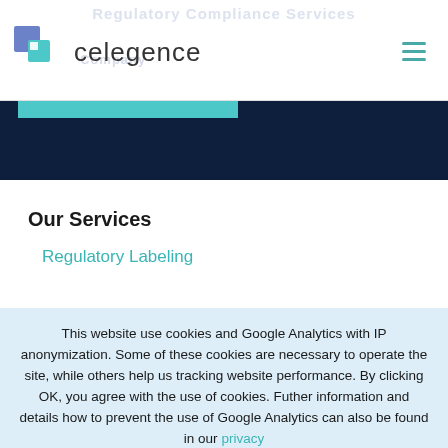Regulatory Compliance Services
[Figure (logo): Celegence company logo with blue/teal cube icon and text 'celegence']
Our Services
Regulatory Labeling
This website use cookies and Google Analytics with IP anonymization. Some of these cookies are necessary to operate the site, while others help us tracking website performance. By clicking OK, you agree with the use of cookies. Futher information and details how to prevent the use of Google Analytics can also be found in our privacy policy.